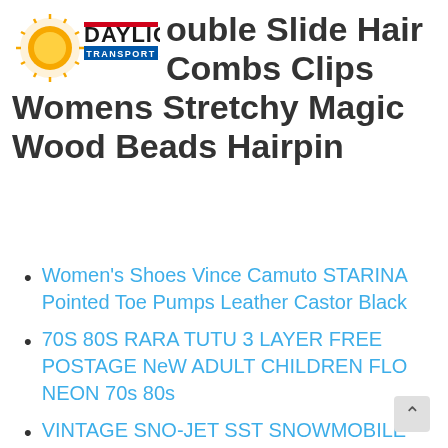[Figure (logo): Daylight Transport logo with sun graphic and red/blue text]
ouble Slide Hair Combs Clips Womens Stretchy Magic Wood Beads Hairpin
Women's Shoes Vince Camuto STARINA Pointed Toe Pumps Leather Castor Black
70S 80S RARA TUTU 3 LAYER FREE POSTAGE NeW ADULT CHILDREN FLO NEON 70s 80s
VINTAGE SNO-JET SST SNOWMOBILE TEE-